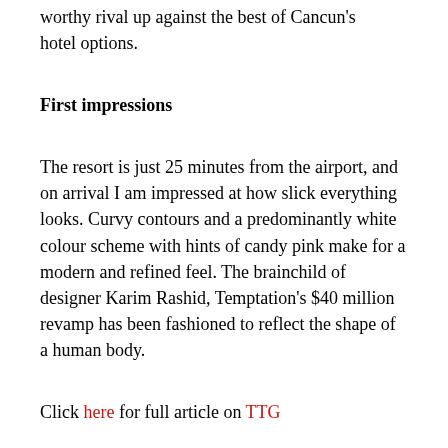…annual party hotel, but this proves them a worthy rival up against the best of Cancun's hotel options.
First impressions
The resort is just 25 minutes from the airport, and on arrival I am impressed at how slick everything looks. Curvy contours and a predominantly white colour scheme with hints of candy pink make for a modern and refined feel. The brainchild of designer Karim Rashid, Temptation's $40 million revamp has been fashioned to reflect the shape of a human body.
Click here for full article on TTG
Source: TTG